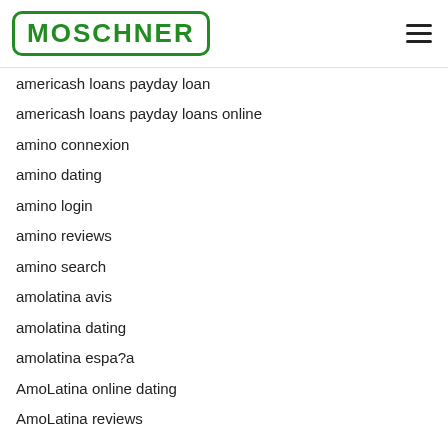MOSCHNER
americash loans payday loan
americash loans payday loans online
amino connexion
amino dating
amino login
amino reviews
amino search
amolatina avis
amolatina dating
amolatina espa?a
AmoLatina online dating
AmoLatina reviews